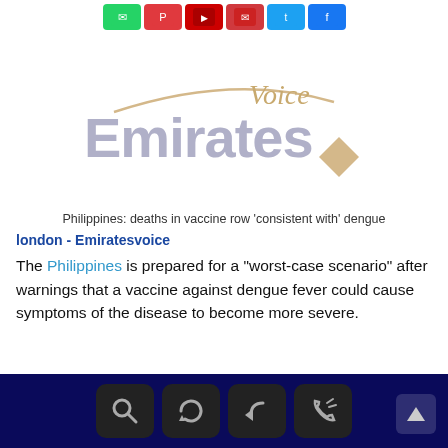[Figure (screenshot): Social media sharing buttons: WhatsApp (green), Pinterest (red), YouTube (dark red), another red button, Twitter (blue), Facebook (blue)]
[Figure (logo): Emirates Voice logo — large grey 'Emirates' text with 'Voice' in tan/gold above, a tan arc line, and a tan diamond shape to the right]
Philippines: deaths in vaccine row 'consistent with' dengue
london - Emiratesvoice
The Philippines is prepared for a "worst-case scenario" after warnings that a vaccine against dengue fever could cause symptoms of the disease to become more severe.
[Figure (screenshot): Dark navy bottom navigation bar with four icon buttons: magnifying glass (search), refresh arrows, back arrow, phone/call icon, and a scroll-to-top arrow button on the right]